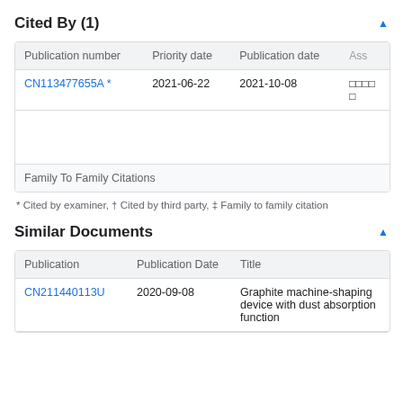Cited By (1)
| Publication number | Priority date | Publication date | Ass |
| --- | --- | --- | --- |
| CN113477655A * | 2021-06-22 | 2021-10-08 | □□□□□ |
| Family To Family Citations |  |  |  |
* Cited by examiner, † Cited by third party, ‡ Family to family citation
Similar Documents
| Publication | Publication Date | Title |
| --- | --- | --- |
| CN211440113U | 2020-09-08 | Graphite machine-shaping device with dust absorption function |